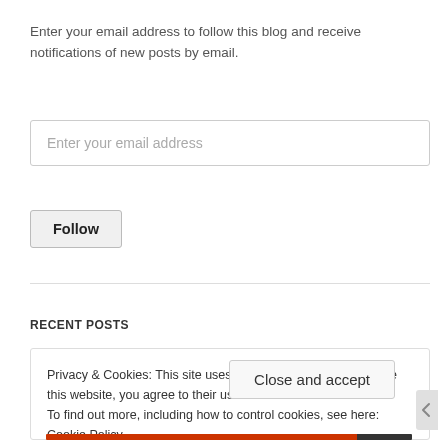Enter your email address to follow this blog and receive notifications of new posts by email.
Enter your email address
Follow
RECENT POSTS
Privacy & Cookies: This site uses cookies. By continuing to use this website, you agree to their use.
To find out more, including how to control cookies, see here: Cookie Policy
Close and accept